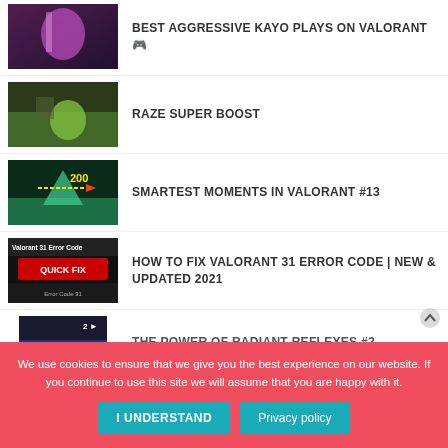BEST AGGRESSIVE KAYO PLAYS ON VALORANT 🎮
RAZE SUPER BOOST
SMARTEST MOMENTS IN VALORANT #13
HOW TO FIX VALORANT 31 ERROR CODE | NEW & UPDATED 2021
THE POWER OF RADIANT REFLEXES #2
We use cookies to ensure that we give you the best experience on our website. If you continue to use this site we will assume that you are happy with it.
I UNDERSTAND
Privacy policy